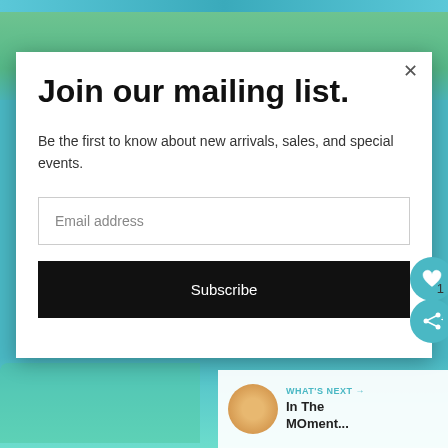Join our mailing list.
Be the first to know about new arrivals, sales, and special events.
Email address
Subscribe
1
WHAT'S NEXT → In The MOMent...